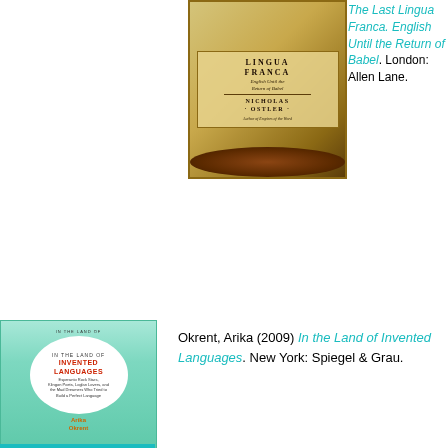[Figure (photo): Book cover of 'The Last Lingua Franca: English Until the Return of Babel' by Nicholas Ostler, displayed under a glass dome on a wooden base]
The Last Lingua Franca. English Until the Return of Babel. London: Allen Lane.
[Figure (photo): Book cover of 'In the Land of Invented Languages' by Arika Okrent, with teal/mint background and white circle design]
Okrent, Arika (2009) In the Land of Invented Languages. New York: Spiegel & Grau.